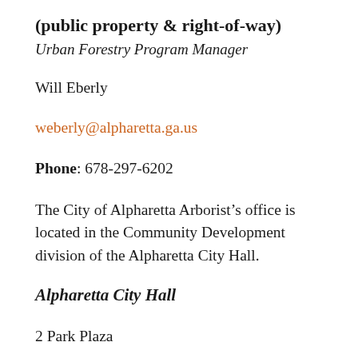(public property & right-of-way)
Urban Forestry Program Manager
Will Eberly
weberly@alpharetta.ga.us
Phone: 678-297-6202
The City of Alpharetta Arborist’s office is located in the Community Development division of the Alpharetta City Hall.
Alpharetta City Hall
2 Park Plaza
Alpharetta, Georgia 30009
Phone: 678-297-6000
If you have a tree emergency or need